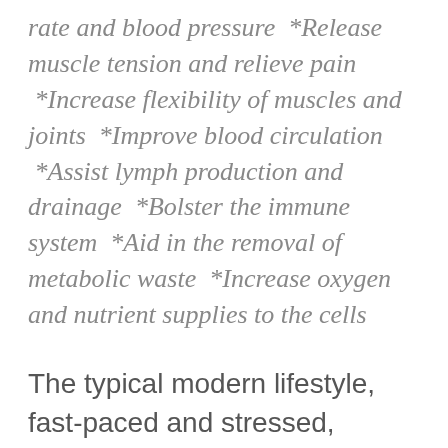rate and blood pressure  *Release muscle tension and relieve pain  *Increase flexibility of muscles and joints  *Improve blood circulation  *Assist lymph production and drainage  *Bolster the immune system  *Aid in the removal of metabolic waste  *Increase oxygen and nutrient supplies to the cells
The typical modern lifestyle, fast-paced and stressed, increases the importance of periodic Body Polishes, Body Wraps, Facials, and Massages  for proper health and hygiene.